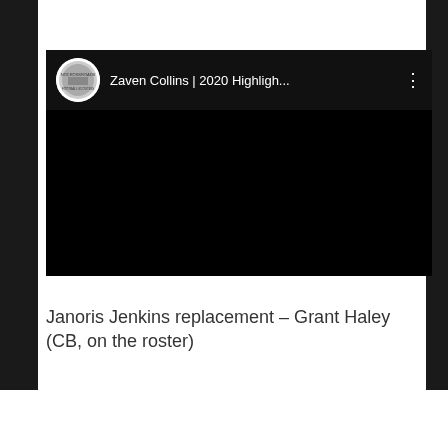[Figure (screenshot): YouTube video embed showing 'Zaven Collins | 2020 Highligh...' with a circular channel icon on the left, video title text, and three-dot menu icon on the right. Video content area is all black.]
Janoris Jenkins replacement – Grant Haley (CB, on the roster)